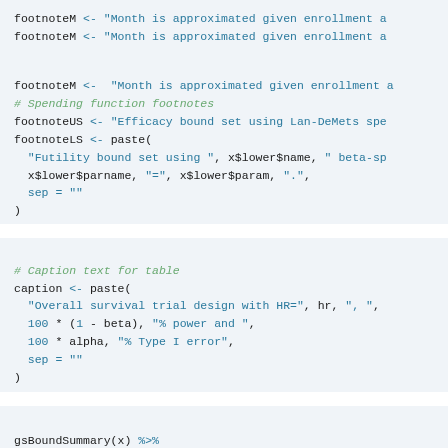footnoteM <- "Month is approximated given enrollment a
# Spending function footnotes
footnoteUS <- "Efficacy bound set using Lan-DeMets spe
footnoteLS <- paste(
  "Futility bound set using ", x$lower$name, " beta-sp
  x$lower$parname, "=", x$lower$param, ".",
  sep = ""
)
# Caption text for table
caption <- paste(
  "Overall survival trial design with HR=", hr, ", ",
  100 * (1 - beta), "% power and ",
  100 * alpha, "% Type I error",
  sep = ""
)
gsBoundSummary(x) %>%
  gt() %>%
  tab_header(title = "Time-to-event group sequential d
  cols_align("left") %>%
  tab_footnote(footnoteUS, locations = cells_column_h